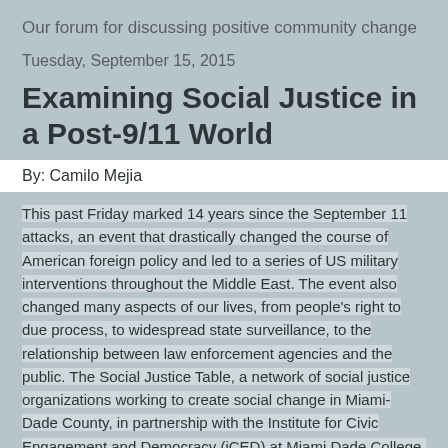Our forum for discussing positive community change
Tuesday, September 15, 2015
Examining Social Justice in a Post-9/11 World
By: Camilo Mejia
This past Friday marked 14 years since the September 11 attacks, an event that drastically changed the course of American foreign policy and led to a series of US military interventions throughout the Middle East. The event also changed many aspects of our lives, from people's right to due process, to widespread state surveillance, to the relationship between law enforcement agencies and the public. The Social Justice Table, a network of social justice organizations working to create social change in Miami-Dade County, in partnership with the Institute for Civic Engagement and Democracy (iCED) at Miami Dade College, hosted a panel discussion to consider all these changes that have taken place and to address growing...